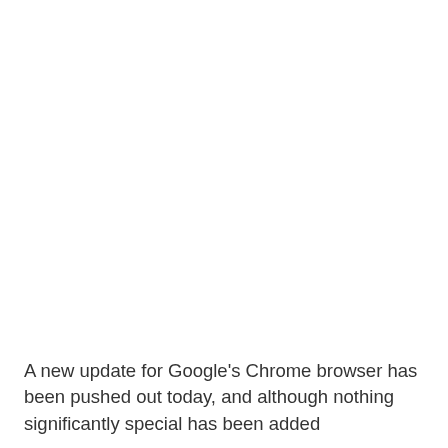A new update for Google's Chrome browser has been pushed out today, and although nothing significantly special has been added